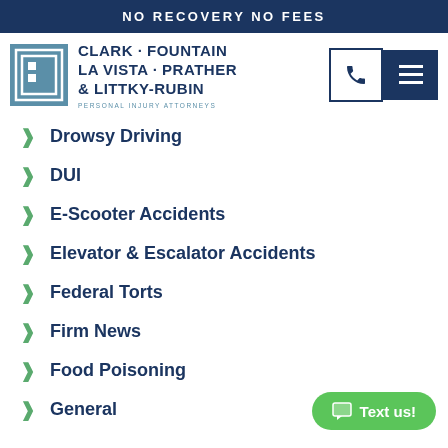NO RECOVERY NO FEES
[Figure (logo): Clark Fountain La Vista Prather & Littky-Rubin law firm logo with stylized CH monogram icon and firm name. Tagline: PERSONAL INJURY ATTORNEYS]
Drowsy Driving
DUI
E-Scooter Accidents
Elevator & Escalator Accidents
Federal Torts
Firm News
Food Poisoning
General